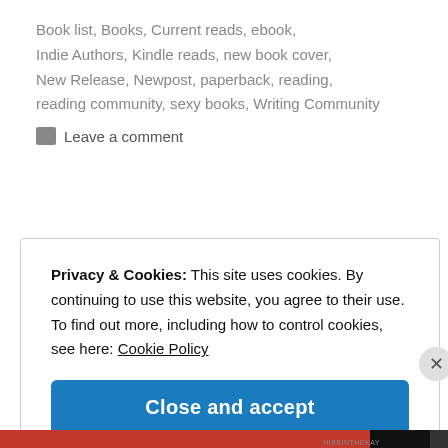Book list, Books, Current reads, ebook, Indie Authors, Kindle reads, new book cover, New Release, Newpost, paperback, reading, reading community, sexy books, Writing Community
Leave a comment
Privacy & Cookies: This site uses cookies. By continuing to use this website, you agree to their use.
To find out more, including how to control cookies, see here: Cookie Policy
Close and accept